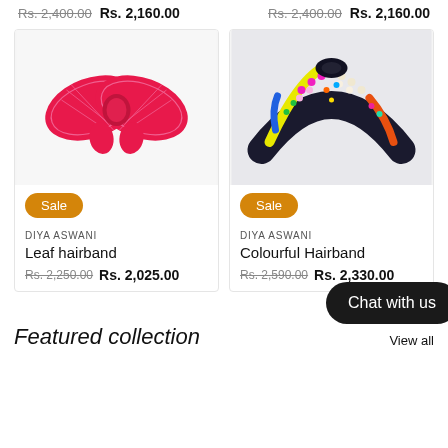Rs. 2,400.00  Rs. 2,160.00  |  Rs. 2,400.00  Rs. 2,160.00
[Figure (photo): Red leaf hairband (bow-shaped, pink/red fabric with embroidery) with a Sale badge]
[Figure (photo): Colourful beaded/jewelled hairband (black base with multicolor beads and pearls) with a Sale badge]
DIYA ASWANI
Leaf hairband
Rs. 2,250.00  Rs. 2,025.00
DIYA ASWANI
Colourful Hairband
Rs. 2,590.00  Rs. 2,330.00
Chat with us
Featured collection
View all